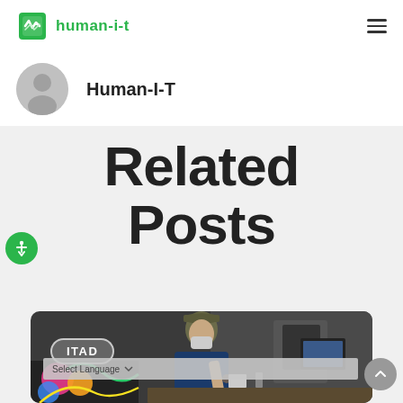human-i-t
Human-I-T
Related Posts
[Figure (photo): Worker wearing a mask and cap working at a workstation, with colorful graffiti art visible in the foreground. ITAD badge overlay on the photo.]
Select Language